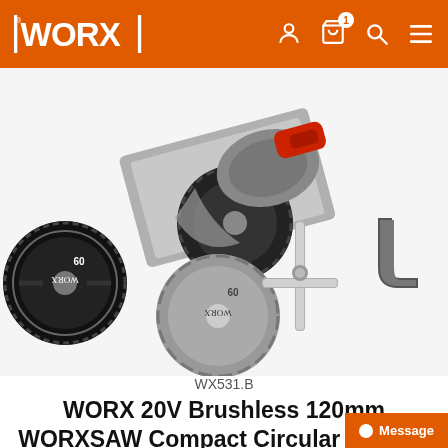WORX
[Figure (photo): WORX 20V Brushless 120mm WORXSAW Compact Circular Saw Kit product photo showing the circular saw with accessories including two saw blades (60-tooth), a rip fence/guide rod, and a dust port elbow]
WX531.B
WORX 20V Brushless 120mm WORXSAW Compact Circular Saw Kit